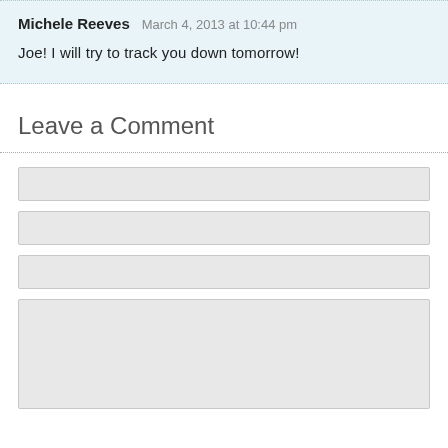Michele Reeves  March 4, 2013 at 10:44 pm
Joe! I will try to track you down tomorrow!
Leave a Comment